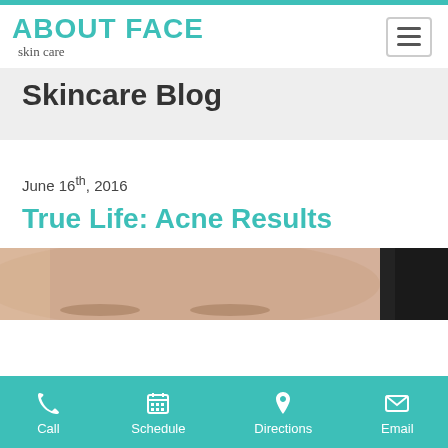ABOUT FACE skin care
Skincare Blog
June 16th, 2016
True Life: Acne Results
[Figure (photo): Close-up photo of a person's forehead/face showing skin]
Call  Schedule  Directions  Email